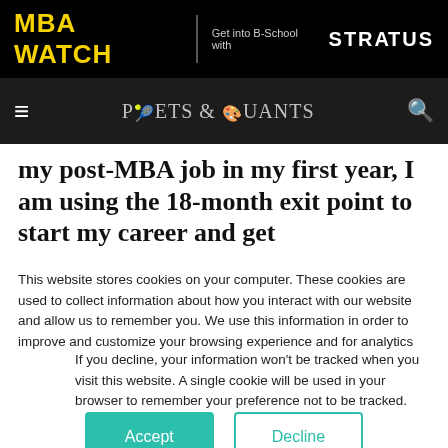MBA WATCH | Get into B-School with STRATUS
≡  POETS & QUANTS  🔍
my post-MBA job in my first year, I am using the 18-month exit point to start my career and get
This website stores cookies on your computer. These cookies are used to collect information about how you interact with our website and allow us to remember you. We use this information in order to improve and customize your browsing experience and for analytics and metrics about our visitors both on this website and other media. To find out more about the cookies we use, see our Privacy Policy.
If you decline, your information won't be tracked when you visit this website. A single cookie will be used in your browser to remember your preference not to be tracked.